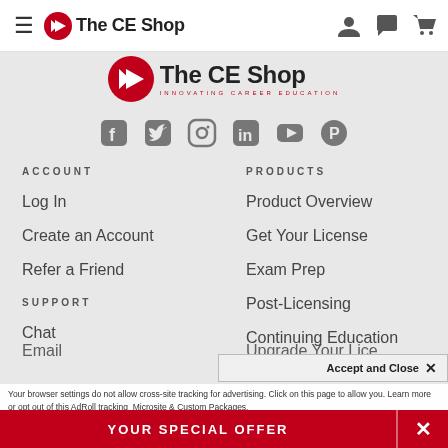The CE Shop — Navigation bar with hamburger menu, logo, user icon, chat icon, cart icon
[Figure (logo): The CE Shop logo with red play-button icon and text 'The CE Shop — Innovating Career Education']
[Figure (infographic): Social media icons row: Facebook, Twitter, Instagram, LinkedIn, YouTube, Pinterest]
ACCOUNT
Log In
Create an Account
Refer a Friend
SUPPORT
Chat
Email
PRODUCTS
Product Overview
Get Your License
Exam Prep
Post-Licensing
Continuing Education
Upgrade Your License
Accept and Close ×
Your browser settings do not allow cross-site tracking for advertising. Click on this page to allow you. Learn more or opt out of this AdRoll tracking
YOUR SPECIAL OFFER  ×